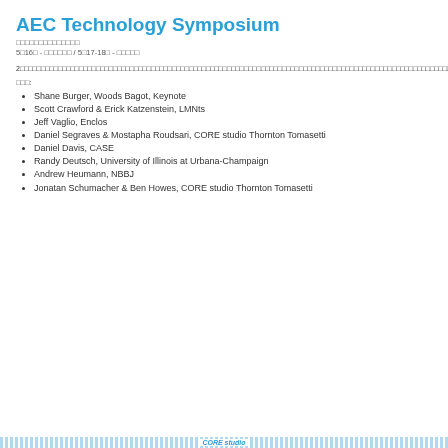AEC Technology Symposium
□□□□□□□□□□□□□□
5□16□ - □□□□□□ / 5□17-18□ - □□□□□
2□□□□□□□□□□□□□□□□□□□□□□□□□□□□□□□□□□□□□□□□□□□□□□□□□□□□□□□□□□□□□□□□□□□□□□□□□□□□□□□□□□□□□□□□□□□□□□□□□□□□□□□□□□□□□□□□□□□□
□□□:
Shane Burger, Woods Bagot, Keynote
Scott Crawford & Erick Katzenstein, LMNts
Jeff Vaglio, Enclos
Daniel Segraves & Mostapha Roudsari, CORE studio Thornton Tomasetti
Daniel Davis, CASE
Randy Deutsch, University of Illinois at Urbana-Champaign
Andrew Heumann, NBBJ
Jonatan Schumacher & Ben Howes, CORE studio Thornton Tomasetti
CORE studio